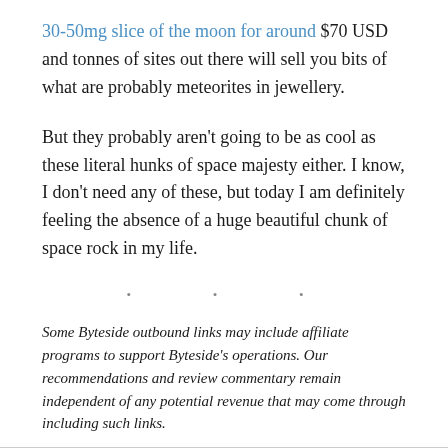30-50mg slice of the moon for around $70 USD and tonnes of sites out there will sell you bits of what are probably meteorites in jewellery.
But they probably aren't going to be as cool as these literal hunks of space majesty either. I know, I don't need any of these, but today I am definitely feeling the absence of a huge beautiful chunk of space rock in my life.
• • •
Some Byteside outbound links may include affiliate programs to support Byteside's operations. Our recommendations and review commentary remain independent of any potential revenue that may come through including such links.